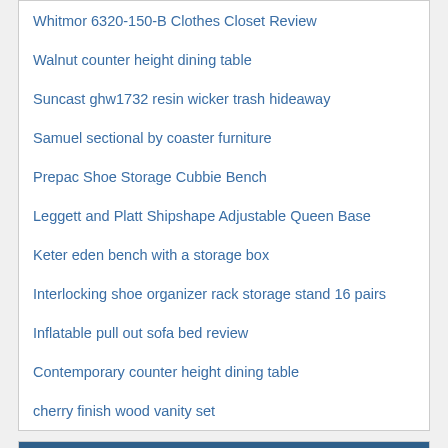Whitmor 6320-150-B Clothes Closet Review
Walnut counter height dining table
Suncast ghw1732 resin wicker trash hideaway
Samuel sectional by coaster furniture
Prepac Shoe Storage Cubbie Bench
Leggett and Platt Shipshape Adjustable Queen Base
Keter eden bench with a storage box
Interlocking shoe organizer rack storage stand 16 pairs
Inflatable pull out sofa bed review
Contemporary counter height dining table
cherry finish wood vanity set
Categories
armchair hall
bolton storage